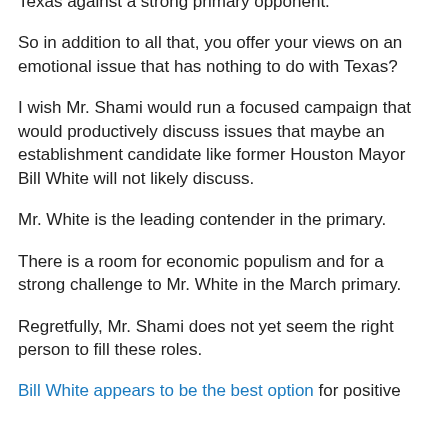Texas against a strong primary opponent.
So in addition to all that, you offer your views on an emotional issue that has nothing to do with Texas?
I wish Mr. Shami would run a focused campaign that would productively discuss issues that maybe an establishment candidate like former Houston Mayor Bill White will not likely discuss.
Mr. White is the leading contender in the primary.
There is a room for economic populism and for a strong challenge to Mr. White in the March primary.
Regretfully, Mr. Shami does not yet seem the right person to fill these roles.
Bill White appears to be the best option for positive